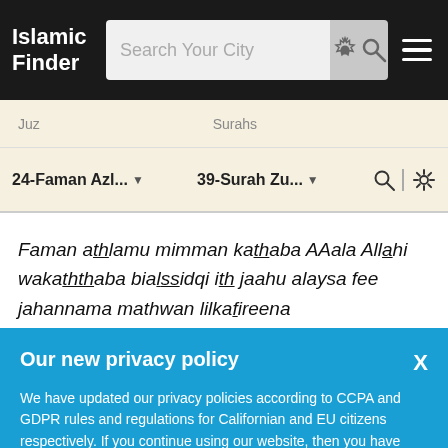Islamic Finder
Juz  Surahs
24-Faman Azl...  39-Surah Zu...
Faman athlamu mimman kathaba AAala Allahi wakaththaba bialssidqi ith jaahu alaysa fee jahannama mathwan lilkafireena
Our new privacy policy
We have updated our privacy policies according to CCPA and GDPR rules and regulations for Californian and EU citizens respectively. If you continue using our website, then you have agreed to our Terms of Use and Privacy Policy.
Got it or More Info